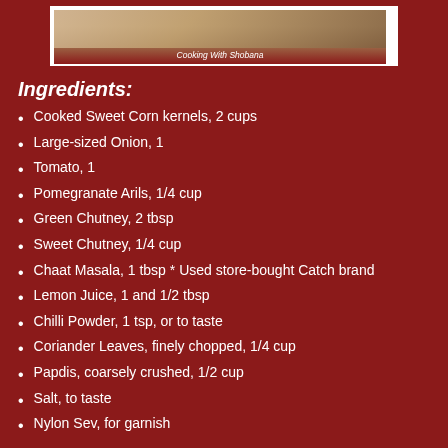[Figure (photo): Partial photo of a food dish with fur/grain texture visible at top, with watermark text 'Cooking With Shobana']
Ingredients:
Cooked Sweet Corn kernels, 2 cups
Large-sized Onion, 1
Tomato, 1
Pomegranate Arils, 1/4 cup
Green Chutney, 2 tbsp
Sweet Chutney, 1/4 cup
Chaat Masala, 1 tbsp * Used store-bought Catch brand
Lemon Juice, 1 and 1/2 tbsp
Chilli Powder, 1 tsp, or to taste
Coriander Leaves, finely chopped, 1/4 cup
Papdis, coarsely crushed, 1/2 cup
Salt, to taste
Nylon Sev, for garnish